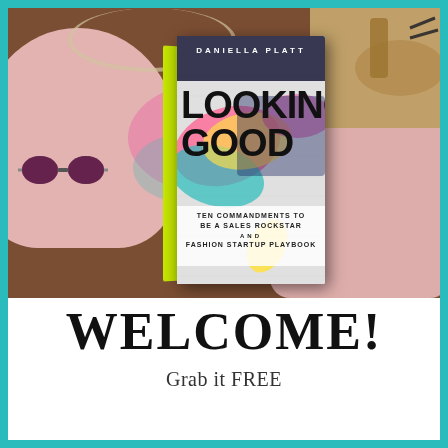[Figure (photo): Flatlay photo of fashion accessories (pink sweater, sunglasses, pink shorts, gold loafers, necklace) on brown background with a book 'Looking Good: Ten Commandments to Be a Sales Rockstar and Fashion Startup Playbook' by Daniella Platt centered in the image]
WELCOME!
Grab it FREE